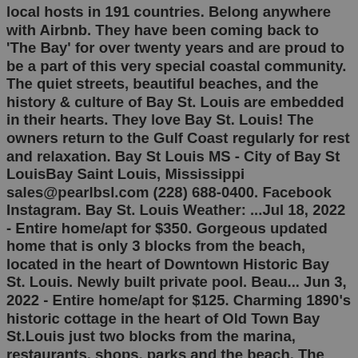local hosts in 191 countries. Belong anywhere with Airbnb. They have been coming back to 'The Bay' for over twenty years and are proud to be a part of this very special coastal community. The quiet streets, beautiful beaches, and the history & culture of Bay St. Louis are embedded in their hearts. They love Bay St. Louis! The owners return to the Gulf Coast regularly for rest and relaxation. Bay St Louis MS - City of Bay St LouisBay Saint Louis, Mississippi sales@pearlbsl.com (228) 688-0400. Facebook Instagram. Bay St. Louis Weather: ...Jul 18, 2022 - Entire home/apt for $350. Gorgeous updated home that is only 3 blocks from the beach, located in the heart of Downtown Historic Bay St. Louis. Newly built private pool. Beau... Jun 3, 2022 - Entire home/apt for $125. Charming 1890's historic cottage in the heart of Old Town Bay St.Louis just two blocks from the marina, restaurants, shops, parks and the beach. The cottage is just steps from the best shopping, restaurants, and nightlife that Bay St Louis has to offer. Once you arrive at Leo's House, you have